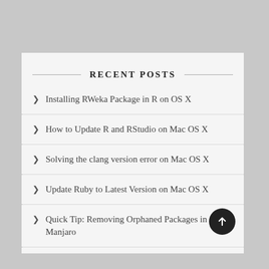RECENT POSTS
Installing RWeka Package in R on OS X
How to Update R and RStudio on Mac OS X
Solving the clang version error on Mac OS X
Update Ruby to Latest Version on Mac OS X
Quick Tip: Removing Orphaned Packages in Manjaro